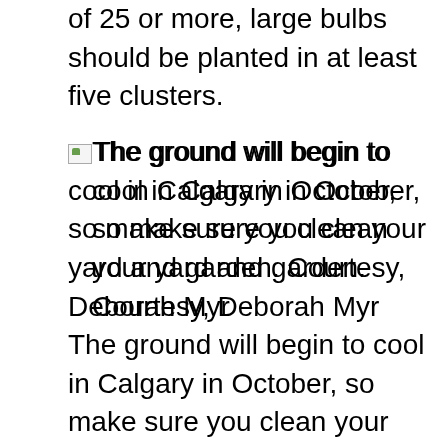of 25 or more, large bulbs should be planted in at least five clusters.
[Figure (photo): Broken image icon representing a photo of a yard/garden in Calgary in October]
The ground will begin to cool in Calgary in October, so make sure you clean your yard and garden. Courtesy, Deborah Myr
The ground will begin to cool in Calgary in October, so make sure you clean your yard and garden. Courtesy, Deborah Myr jpg Once the garden is harvested, plants are planted, light bulbs are planted, and beds are covered with compost and a hammer is applied. Fertilizers add nutrients and improve the soil during the winter, but strawberries help protect the garden from frost and freezing. You can use it as a fertilizer if you want. Do not cover continuous crowns when applying glue. Covering the crown of these